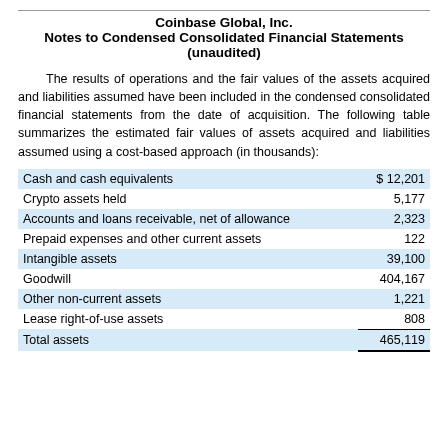Coinbase Global, Inc.
Notes to Condensed Consolidated Financial Statements
(unaudited)
The results of operations and the fair values of the assets acquired and liabilities assumed have been included in the condensed consolidated financial statements from the date of acquisition. The following table summarizes the estimated fair values of assets acquired and liabilities assumed using a cost-based approach (in thousands):
|  |  |
| --- | --- |
| Cash and cash equivalents | $ 12,201 |
| Crypto assets held | 5,177 |
| Accounts and loans receivable, net of allowance | 2,323 |
| Prepaid expenses and other current assets | 122 |
| Intangible assets | 39,100 |
| Goodwill | 404,167 |
| Other non-current assets | 1,221 |
| Lease right-of-use assets | 808 |
| Total assets | 465,119 |